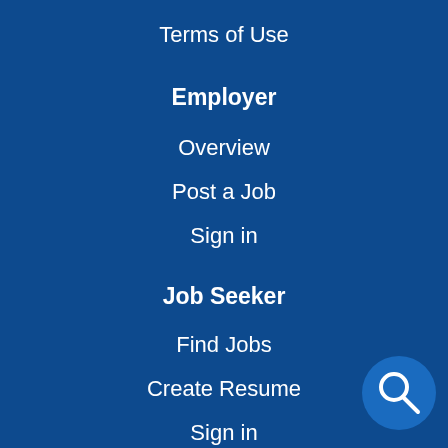Terms of Use
Employer
Overview
Post a Job
Sign in
Job Seeker
Find Jobs
Create Resume
Sign in
Facebook
Twitter
[Figure (illustration): Search button icon — circular blue button with magnifying glass icon in bottom right corner]